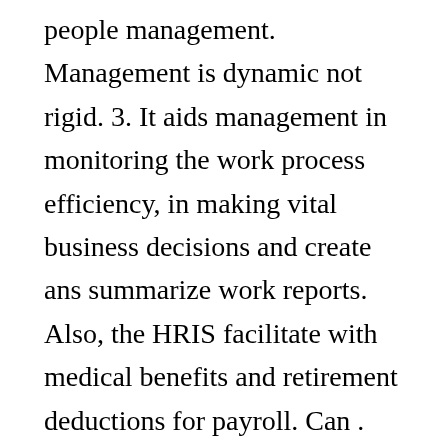people management. Management is dynamic not rigid. 3. It aids management in monitoring the work process efficiency, in making vital business decisions and create ans summarize work reports. Also, the HRIS facilitate with medical benefits and retirement deductions for payroll. Can . •Thus MIS is not a single system, rather it is an integrated system where subsystems fit into an overall design. Discuss the nature and scope of corporate management and its role in non-business